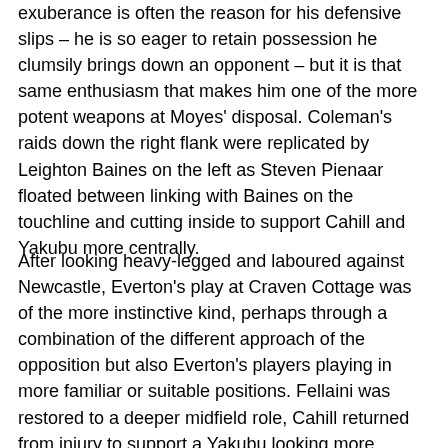exuberance is often the reason for his defensive slips – he is so eager to retain possession he clumsily brings down an opponent – but it is that same enthusiasm that makes him one of the more potent weapons at Moyes' disposal. Coleman's raids down the right flank were replicated by Leighton Baines on the left as Steven Pienaar floated between linking with Baines on the touchline and cutting inside to support Cahill and Yakubu more centrally.
After looking heavy-legged and laboured against Newcastle, Everton's play at Craven Cottage was of the more instinctive kind, perhaps through a combination of the different approach of the opposition but also Everton's players playing in more familiar or suitable positions. Fellaini was restored to a deeper midfield role, Cahill returned from injury to support a Yakubu looking more dangerous than for much of the time since he returned from a serious injury suffered almost two years ago, while Neville's presence at right-back gave the struggling side some of the leadership and reliability it has lacked through